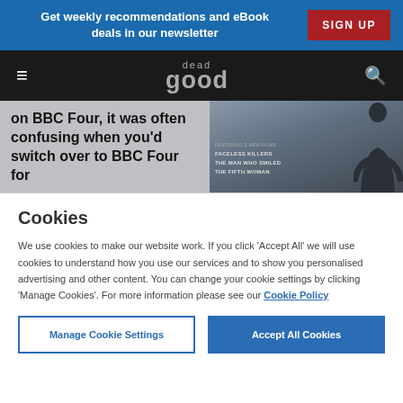Get weekly recommendations and eBook deals in our newsletter  SIGN UP
dead good (logo with hamburger menu and search icon)
[Figure (screenshot): Partial article text reading 'on BBC Four, it was often confusing when you'd switch over to BBC Four for' alongside a book/DVD cover image with text 'FEATURING 3 NEW FILMS FACELESS KILLERS THE MAN WHO SMILED THE FIFTH WOMAN' and a silhouette of a person]
Cookies
We use cookies to make our website work. If you click 'Accept All' we will use cookies to understand how you use our services and to show you personalised advertising and other content. You can change your cookie settings by clicking 'Manage Cookies'. For more information please see our Cookie Policy
Manage Cookie Settings | Accept All Cookies